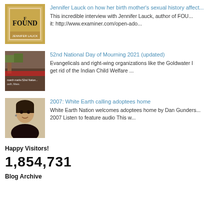Jennifer Lauck on how her birth mother's sexual history affect...
This incredible interview with Jennifer Lauck, author of FOU... it: http://www.examiner.com/open-ado...
52nd National Day of Mourning 2021 (updated)
Evangelicals and right-wing organizations like the Goldwater I get rid of the Indian Child Welfare ...
2007: White Earth calling adoptees home
White Earth Nation welcomes adoptees home by Dan Gunders... 2007 Listen to feature audio This w...
Happy Visitors!
1,854,731
Blog Archive